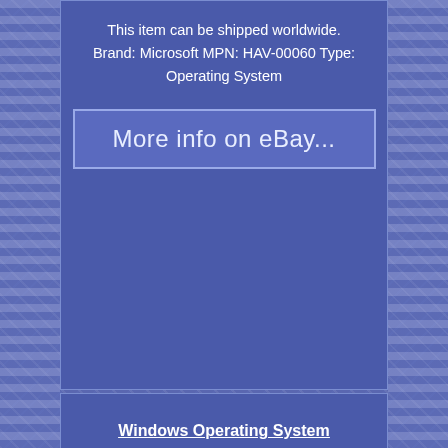This item can be shipped worldwide. Brand: Microsoft MPN: HAV-00060 Type: Operating System
[Figure (other): Button/link styled element reading 'More info on eBay...']
Windows Operating System
Archives
Contact Form
Privacy Policy Agreement
Service Agreement